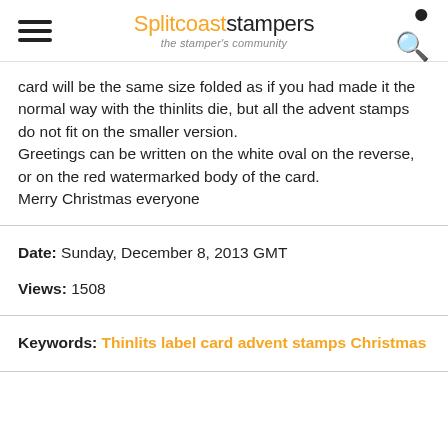Splitcoaststampers — the stamper's community
card will be the same size folded as if you had made it the normal way with the thinlits die, but all the advent stamps do not fit on the smaller version.
Greetings can be written on the white oval on the reverse, or on the red watermarked body of the card.
Merry Christmas everyone
Date: Sunday, December 8, 2013 GMT
Views: 1508
Keywords: Thinlits label card advent stamps Christmas